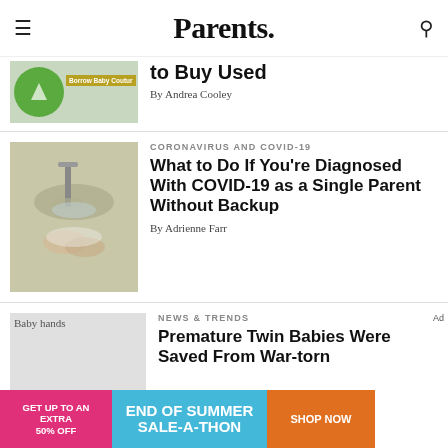Parents.
to Buy Used
By Andrea Cooley
CORONAVIRUS AND COVID-19
What to Do If You're Diagnosed With COVID-19 as a Single Parent Without Backup
By Adrienne Farr
[Figure (photo): Person washing hands at a faucet with soap suds]
NEWS & TRENDS
Premature Twin Babies Were Saved From War-torn
[Figure (photo): Baby hands placeholder image]
[Figure (infographic): Advertisement banner: GET UP TO AN EXTRA 50% OFF | END OF SUMMER SALE-A-THON | SHOP NOW]